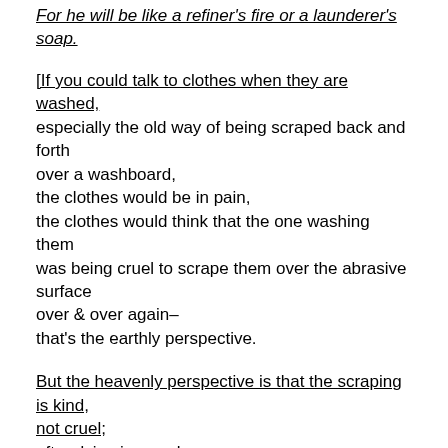For he will be like a refiner's fire or a launderer's soap.
[If you could talk to clothes when they are washed, especially the old way of being scraped back and forth over a washboard, the clothes would be in pain, the clothes would think that the one washing them was being cruel to scrape them over the abrasive surface over & over again– that's the earthly perspective.
But the heavenly perspective is that the scraping is kind, not cruel; after dying in our place, the pinnacle of the Lord's compassion & mercy is to make us clean, to transform us,